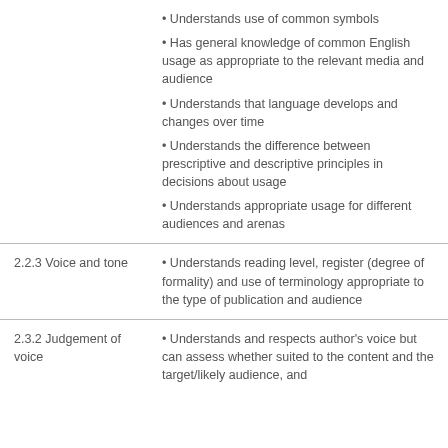Understands use of common symbols
Has general knowledge of common English usage as appropriate to the relevant media and audience
Understands that language develops and changes over time
Understands the difference between prescriptive and descriptive principles in decisions about usage
Understands appropriate usage for different audiences and arenas
2.2.3 Voice and tone
Understands reading level, register (degree of formality) and use of terminology appropriate to the type of publication and audience
2.3.2 Judgement of voice
Understands and respects author's voice but can assess whether suited to the content and the target/likely audience, and